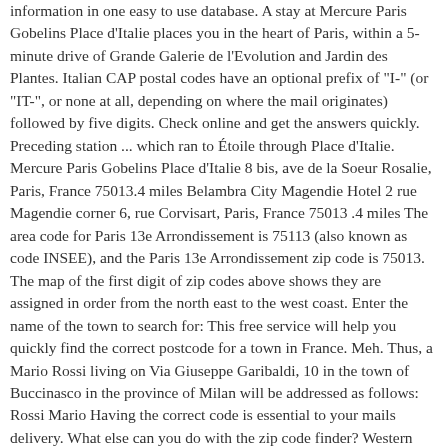information in one easy to use database. A stay at Mercure Paris Gobelins Place d'Italie places you in the heart of Paris, within a 5-minute drive of Grande Galerie de l'Evolution and Jardin des Plantes. Italian CAP postal codes have an optional prefix of "I-" (or "IT-", or none at all, depending on where the mail originates) followed by five digits. Check online and get the answers quickly. Preceding station ... which ran to Étoile through Place d'Italie. Mercure Paris Gobelins Place d'Italie 8 bis, ave de la Soeur Rosalie, Paris, France 75013.4 miles Belambra City Magendie Hotel 2 rue Magendie corner 6, rue Corvisart, Paris, France 75013 .4 miles The area code for Paris 13e Arrondissement is 75113 (also known as code INSEE), and the Paris 13e Arrondissement zip code is 75013. The map of the first digit of zip codes above shows they are assigned in order from the north east to the west coast. Enter the name of the town to search for: This free service will help you quickly find the correct postcode for a town in France. Meh. Thus, a Mario Rossi living on Via Giuseppe Garibaldi, 10 in the town of Buccinasco in the province of Milan will be addressed as follows: Rossi Mario Having the correct code is essential to your mails delivery. What else can you do with the zip code finder? Western Union® agent location. Promotional code. You acknowledge that Canada Post is providing the Find a Postal Code Service strictly on an "as is" basis, and makes no representations or warranties about the